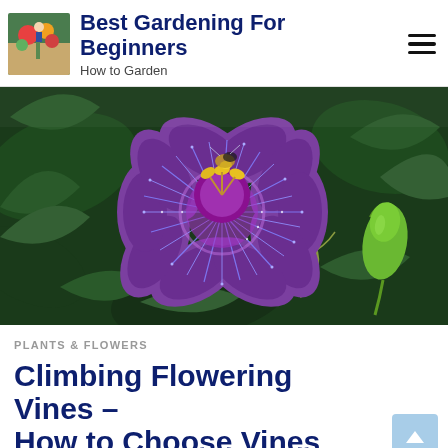Best Gardening For Beginners — How to Garden
[Figure (photo): Close-up photo of a purple passionflower (Passiflora) in full bloom with intricate blue-purple filaments radiating from the center, a yellow and purple center, and green foliage and a bud visible in the background.]
PLANTS & FLOWERS
Climbing Flowering Vines – How to Choose Vines